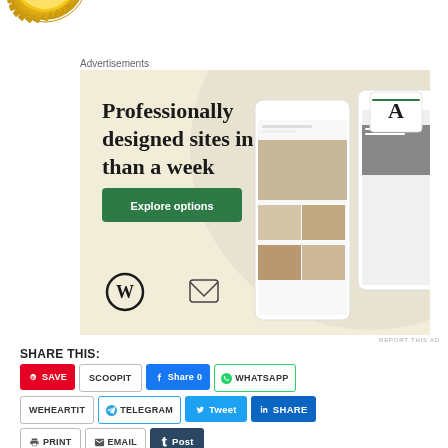[Figure (logo): Gold award/certification seal badge, partially cropped at top-left corner]
Advertisements
[Figure (illustration): WordPress advertisement banner with beige/cream background. Text: 'Professionally designed sites in less than a week' with a green 'Explore options' button, WordPress logo at bottom-left, and decorative phone/tablet screen mockups showing food/restaurant websites on the right side.]
REPORT THIS AD
SHARE THIS:
SAVE (Pinterest)
SCOOPIT
Share 0 (Facebook)
WHATSAPP
WEHEARTIT
TELEGRAM
Tweet (Twitter)
SHARE (LinkedIn)
PRINT
EMAIL
Post (Tumblr)